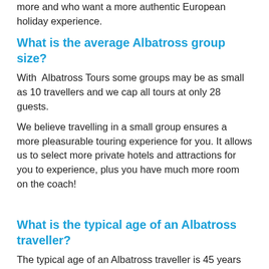more and who want a more authentic European holiday experience.
What is the average Albatross group size?
With Albatross Tours some groups may be as small as 10 travellers and we cap all tours at only 28 guests.
We believe travelling in a small group ensures a more pleasurable touring experience for you. It allows us to select more private hotels and attractions for you to experience, plus you have much more room on the coach!
What is the typical age of an Albatross traveller?
The typical age of an Albatross traveller is 45 years and over. Our unique style of touring allows our tours and itineraries to attract a wide variety of travellers, from empty nesters to baby boomers and families on our Christmas & New Year tours. Perhaps more importantly, it is about the type of people we carry, usually Australians and New Zealanders. People who want to see and